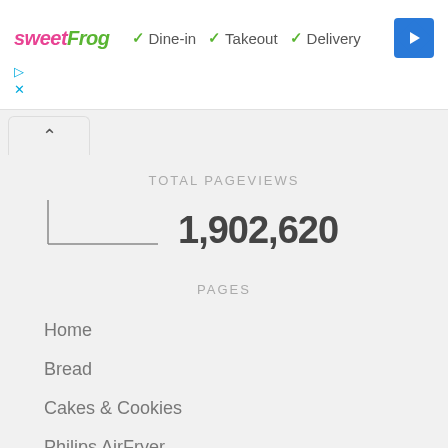[Figure (screenshot): SweetFrog logo with Dine-in, Takeout, Delivery check marks and a navigation arrow icon]
TOTAL PAGEVIEWS
1,902,620
PAGES
Home
Bread
Cakes & Cookies
Philips AirFryer
Philips Pressure Cooker